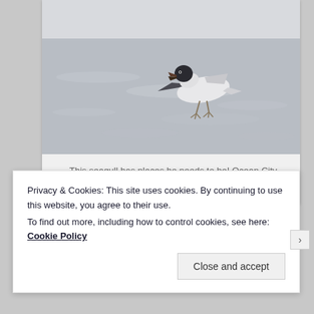[Figure (photo): A seagull with a black head walking on sandy beach, mouth open, wings slightly raised. Ocean City, August 2010.]
— This seagull has places he needs to be! Ocean City. August 2010.
Privacy & Cookies: This site uses cookies. By continuing to use this website, you agree to their use.
To find out more, including how to control cookies, see here: Cookie Policy